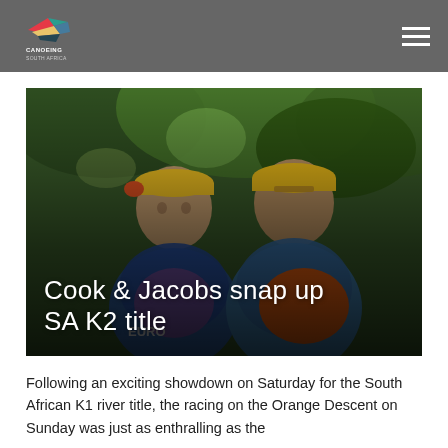Canoeing South Africa
[Figure (photo): Two male athletes in kayaking gear, wearing yellow caps, smiling, with green trees in background. Title overlay reads: Cook & Jacobs snap up SA K2 title]
Cook & Jacobs snap up SA K2 title
Following an exciting showdown on Saturday for the South African K1 river title, the racing on the Orange Descent on Sunday was just as enthralling as the